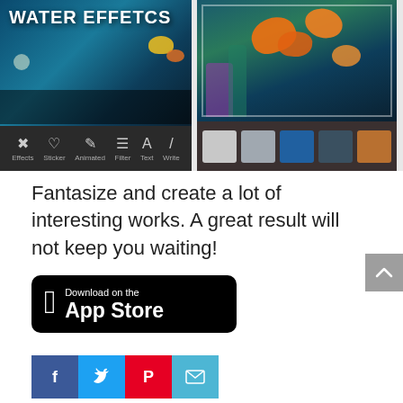[Figure (screenshot): Two side-by-side mobile app screenshots showing a water effects photo editing app. Left screenshot shows app UI with 'WATER EFFETCS' title and toolbar with Effects, Sticker, Animated, Filter, Text, Write options. Right screenshot shows a photo with goldfish and aquatic scene with thumbnails at bottom.]
Fantasize and create a lot of interesting works. A great result will not keep you waiting!
[Figure (logo): Download on the App Store button - black rounded rectangle with Apple logo and text 'Download on the App Store']
[Figure (infographic): Social share buttons row: Facebook (blue), Twitter (light blue), Pinterest (red), Email (teal)]